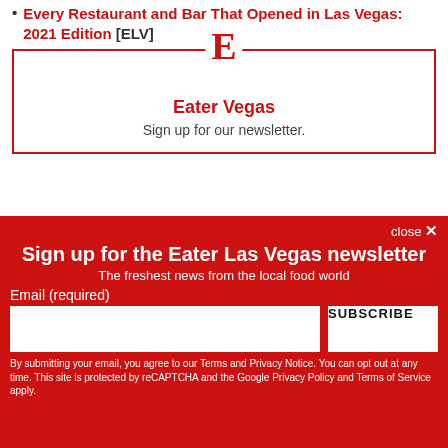Every Restaurant and Bar That Opened in Las Vegas: 2021 Edition [ELV]
[Figure (logo): Eater 'E' logo in red above newsletter signup box]
Eater Vegas
Sign up for our newsletter.
close ×
Sign up for the Eater Las Vegas newsletter
The freshest news from the local food world
Email (required)
SUBSCRIBE
By submitting your email, you agree to our Terms and Privacy Notice. You can opt out at any time. This site is protected by reCAPTCHA and the Google Privacy Policy and Terms of Service apply.